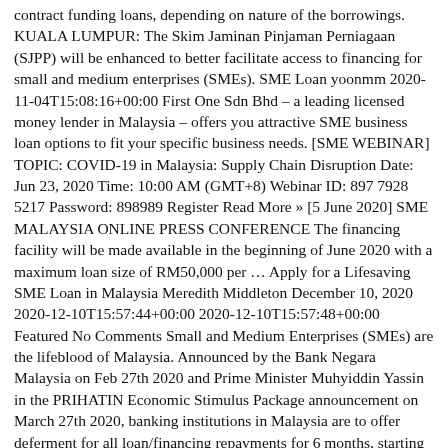contract funding loans, depending on nature of the borrowings. KUALA LUMPUR: The Skim Jaminan Pinjaman Perniagaan (SJPP) will be enhanced to better facilitate access to financing for small and medium enterprises (SMEs). SME Loan yoonmm 2020-11-04T15:08:16+00:00 First One Sdn Bhd – a leading licensed money lender in Malaysia – offers you attractive SME business loan options to fit your specific business needs. [SME WEBINAR] TOPIC: COVID-19 in Malaysia: Supply Chain Disruption Date: Jun 23, 2020 Time: 10:00 AM (GMT+8) Webinar ID: 897 7928 5217 Password: 898989 Register Read More » [5 June 2020] SME MALAYSIA ONLINE PRESS CONFERENCE The financing facility will be made available in the beginning of June 2020 with a maximum loan size of RM50,000 per … Apply for a Lifesaving SME Loan in Malaysia Meredith Middleton December 10, 2020 2020-12-10T15:57:44+00:00 2020-12-10T15:57:48+00:00 Featured No Comments Small and Medium Enterprises (SMEs) are the lifeblood of Malaysia. Announced by the Bank Negara Malaysia on Feb 27th 2020 and Prime Minister Muhyiddin Yassin in the PRIHATIN Economic Stimulus Package announcement on March 27th 2020, banking institutions in Malaysia are to offer deferment for all loan/financing repayments for 6 months, starting from April 1, 2020. Visit us now! The COVID-19 outbreak and the resulting Movement Control Order (MCO) in Malaysia have caused businesses and small-and-medium enterprises (SMEs) to suffer from losses and cash flows issues.Therefore, we have prepared this complete Malaysia SME Funding Guide 2020 that